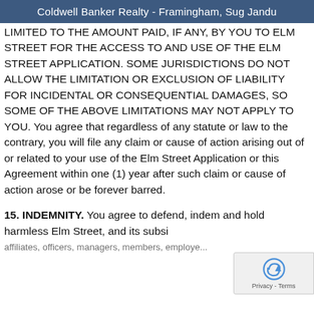Coldwell Banker Realty - Framingham, Sug Jandu
LIMITED TO THE AMOUNT PAID, IF ANY, BY YOU TO ELM STREET FOR THE ACCESS TO AND USE OF THE Elm Street Application. SOME JURISDICTIONS DO NOT ALLOW THE LIMITATION OR EXCLUSION OF LIABILITY FOR INCIDENTAL OR CONSEQUENTIAL DAMAGES, SO SOME OF THE ABOVE LIMITATIONS MAY NOT APPLY TO YOU. You agree that regardless of any statute or law to the contrary, you will file any claim or cause of action arising out of or related to your use of the Elm Street Application or this Agreement within one (1) year after such claim or cause of action arose or be forever barred.
15. INDEMNITY. You agree to defend, indemnify and hold harmless Elm Street, and its subsidiaries, affiliates, officers, managers, members, employees,